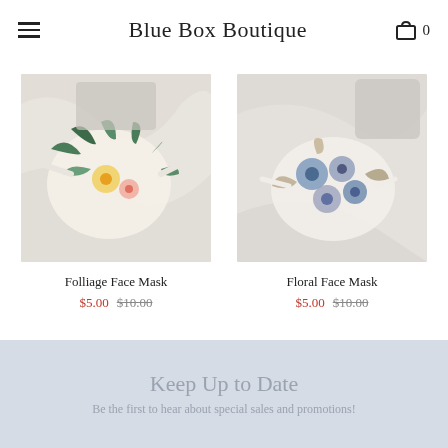Blue Box Boutique
[Figure (photo): Folliage face mask product photo on marble background]
Folliage Face Mask
$5.00  $10.00
[Figure (photo): Floral face mask product photo on marble background]
Floral Face Mask
$5.00  $10.00
Keep Up to Date
Be the first to hear about special sales and promotions!